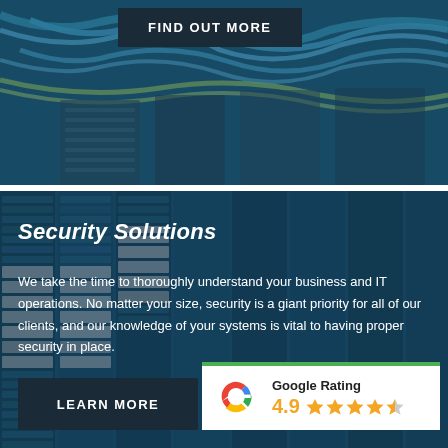[Figure (photo): Network server cables background with blue tint overlay, top section]
FIND OUT MORE
[Figure (photo): Server rack data center background with blue tint overlay, bottom section]
Security Solutions
We take the time to thoroughly understand your business and IT operations. No matter your size, security is a giant priority for all of our clients, and our knowledge of your systems is vital to having proper security in place.
LEARN MORE
[Figure (infographic): Google Rating widget showing 4.9 stars with Google G logo and green top border]